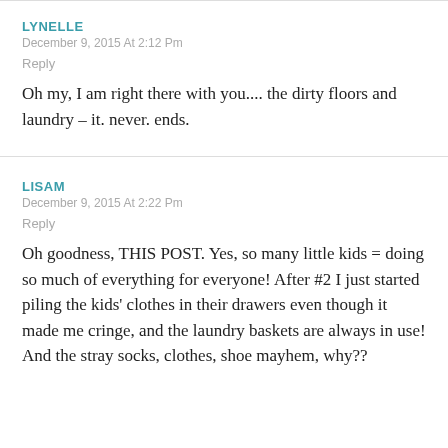LYNELLE
December 9, 2015 At 2:12 Pm
Reply
Oh my, I am right there with you.... the dirty floors and laundry – it. never. ends.
LISAM
December 9, 2015 At 2:22 Pm
Reply
Oh goodness, THIS POST. Yes, so many little kids = doing so much of everything for everyone! After #2 I just started piling the kids' clothes in their drawers even though it made me cringe, and the laundry baskets are always in use! And the stray socks, clothes, shoe mayhem, why??